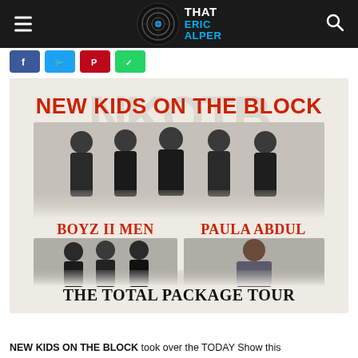That Eric Alper
[Figure (illustration): Concert tour promotional poster for New Kids on the Block, Boyz II Men, and Paula Abdul – The Total Package Tour. Features band members in dark clothing against a light background with watermark text NKOTB.]
NEW KIDS ON THE BLOCK took over the TODAY Show this